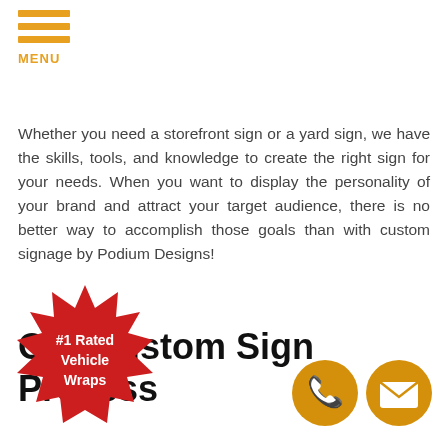MENU
Whether you need a storefront sign or a yard sign, we have the skills, tools, and knowledge to create the right sign for your needs. When you want to display the personality of your brand and attract your target audience, there is no better way to accomplish those goals than with custom signage by Podium Designs!
Our Custom Sign Process
[Figure (illustration): Red starburst badge with white bold text reading '#1 Rated Vehicle Wraps']
[Figure (illustration): Orange circle phone icon]
[Figure (illustration): Orange circle email/envelope icon]